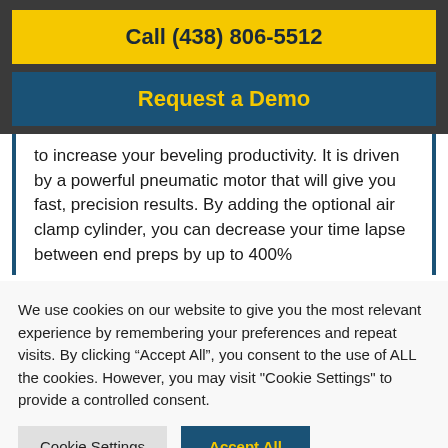Call (438) 806-5512
Request a Demo
to increase your beveling productivity. It is driven by a powerful pneumatic motor that will give you fast, precision results. By adding the optional air clamp cylinder, you can decrease your time lapse between end preps by up to 400%
We use cookies on our website to give you the most relevant experience by remembering your preferences and repeat visits. By clicking “Accept All”, you consent to the use of ALL the cookies. However, you may visit "Cookie Settings" to provide a controlled consent.
Cookie Settings
Accept All